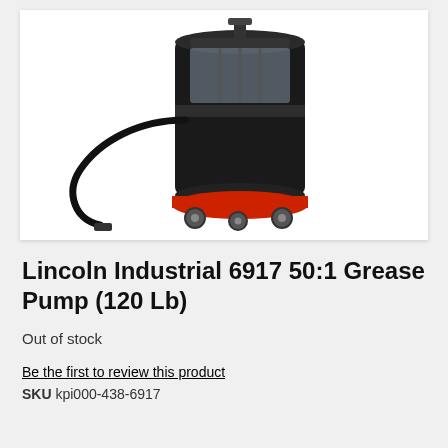[Figure (photo): Lincoln Industrial 6917 50:1 Grease Pump (120 Lb) product photo showing a large black cylindrical drum grease pump on a red wheeled base/dolly with a black hose, photographed on white background.]
Lincoln Industrial 6917 50:1 Grease Pump (120 Lb)
Out of stock
Be the first to review this product
SKU kpi000-438-6917